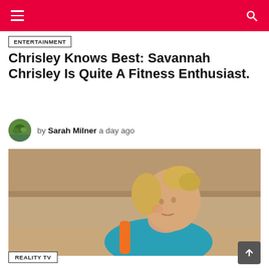Navigation header with menu and search
ENTERTAINMENT
Chrisley Knows Best: Savannah Chrisley Is Quite A Fitness Enthusiast.
by Sarah Milner  a day ago
[Figure (photo): A woman with blonde hair wearing a teal/blue athletic top with orange strap, photographed outdoors in a sandy/dusty setting.]
REALITY TV